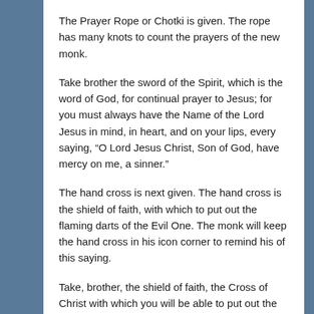The Prayer Rope or Chotki is given. The rope has many knots to count the prayers of the new monk.
Take brother the sword of the Spirit, which is the word of God, for continual prayer to Jesus; for you must always have the Name of the Lord Jesus in mind, in heart, and on your lips, every saying, “O Lord Jesus Christ, Son of God, have mercy on me, a sinner.”
The hand cross is next given. The hand cross is the shield of faith, with which to put out the flaming darts of the Evil One. The monk will keep the hand cross in his icon corner to remind his of this saying.
Take, brother, the shield of faith, the Cross of Christ with which you will be able to put out the flaming darts of the Evil One; and remember always how the Lord said, “He who would come after me, let him deny himself, and take up his cross and follow me.”
Finally a lighted candle is give signifying that he must